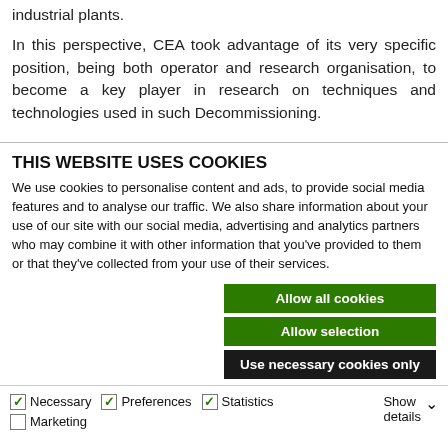industrial plants.
In this perspective, CEA took advantage of its very specific position, being both operator and research organisation, to become a key player in research on techniques and technologies used in such Decommissioning.
THIS WEBSITE USES COOKIES
We use cookies to personalise content and ads, to provide social media features and to analyse our traffic. We also share information about your use of our site with our social media, advertising and analytics partners who may combine it with other information that you've provided to them or that they've collected from your use of their services.
Allow all cookies
Allow selection
Use necessary cookies only
Necessary  Preferences  Statistics  Marketing  Show details